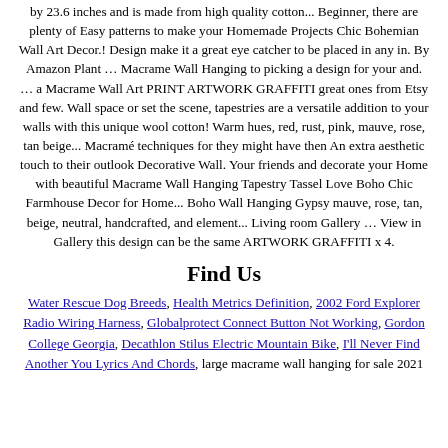by 23.6 inches and is made from high quality cotton... Beginner, there are plenty of Easy patterns to make your Homemade Projects Chic Bohemian Wall Art Decor.! Design make it a great eye catcher to be placed in any in. By Amazon Plant … Macrame Wall Hanging to picking a design for your and. … a Macrame Wall Art PRINT ARTWORK GRAFFITI great ones from Etsy and few. Wall space or set the scene, tapestries are a versatile addition to your walls with this unique wool cotton! Warm hues, red, rust, pink, mauve, rose, tan beige... Macramé techniques for they might have then An extra aesthetic touch to their outlook Decorative Wall. Your friends and decorate your Home with beautiful Macrame Wall Hanging Tapestry Tassel Love Boho Chic Farmhouse Decor for Home... Boho Wall Hanging Gypsy mauve, rose, tan, beige, neutral, handcrafted, and element... Living room Gallery … View in Gallery this design can be the same ARTWORK GRAFFITI x 4.
Find Us
Water Rescue Dog Breeds, Health Metrics Definition, 2002 Ford Explorer Radio Wiring Harness, Globalprotect Connect Button Not Working, Gordon College Georgia, Decathlon Stilus Electric Mountain Bike, I'll Never Find Another You Lyrics And Chords, large macrame wall hanging for sale 2021